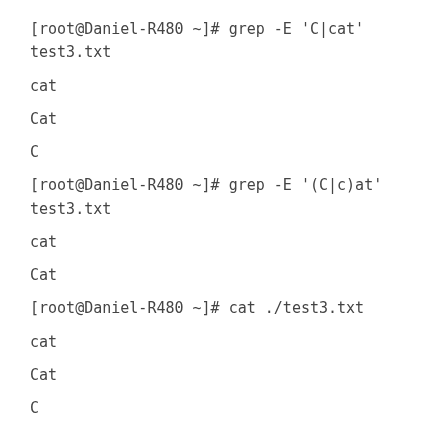[root@Daniel-R480 ~]# grep -E 'C|cat' test3.txt
cat
Cat
C
[root@Daniel-R480 ~]# grep -E '(C|c)at' test3.txt
cat
Cat
[root@Daniel-R480 ~]# cat ./test3.txt
cat
Cat
C